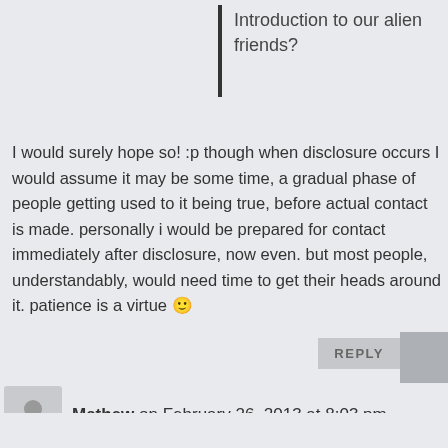Introduction to our alien friends?
I would surely hope so! :p though when disclosure occurs I would assume it may be some time, a gradual phase of people getting used to it being true, before actual contact is made. personally i would be prepared for contact immediately after disclosure, now even. but most people, understandably, would need time to get their heads around it. patience is a virtue 🙂
Mathew on February 26, 2013 at 8:03 pm
[Quoting "Some Guy"]holy crapola... Walt Disney did a UFO documentary... a pretty